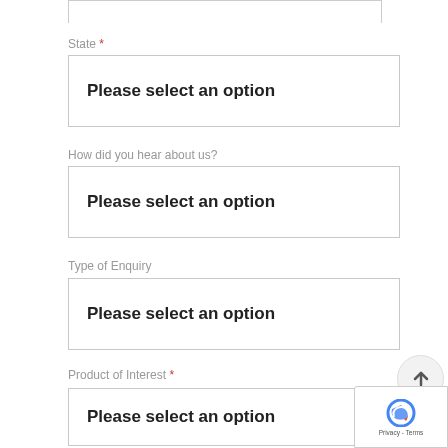[Figure (screenshot): Top portion of a form input box (partially visible at top)]
State *
Please select an option
How did you hear about us?
Please select an option
Type of Enquiry
Please select an option
Product of Interest *
Please select an option
[Figure (screenshot): Scroll-to-top button (circle with upward arrow) and reCAPTCHA badge with Privacy and Terms text]